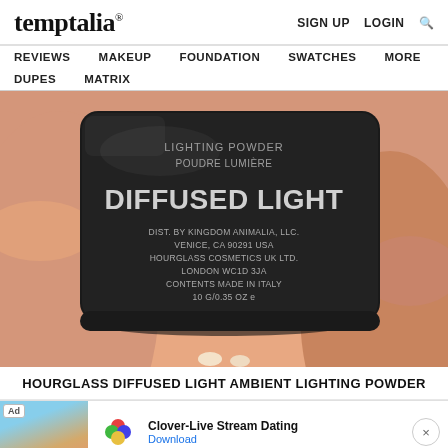temptalia® — SIGN UP  LOGIN  🔍
REVIEWS  MAKEUP  FOUNDATION  SWATCHES  MORE  DUPES  MATRIX
[Figure (photo): Close-up photo of the bottom of a black Hourglass Diffused Light Ambient Lighting Powder compact held in a hand. The black compact shows text: LIGHTING POWDER, POUDRE LUMIÈRE, DIFFUSED LIGHT, DIST. BY KINGDOM ANIMALIA, LLC., VENICE, CA 90291 USA, HOURGLASS COSMETICS UK LTD., LONDON WC1D 3JA, CONTENTS MADE IN ITALY, 10 G/0.35 OZ e]
HOURGLASS DIFFUSED LIGHT AMBIENT LIGHTING POWDER
[Figure (other): Advertisement banner: Clover-Live Stream Dating app ad with beach photo, app icon, and Download link]